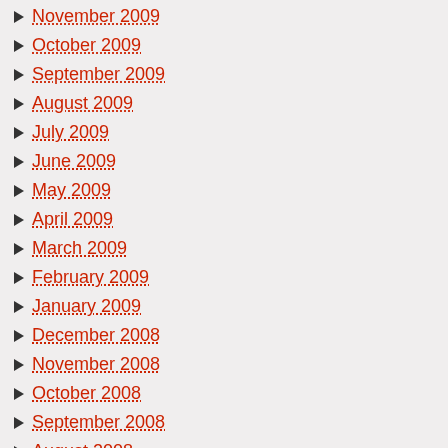November 2009
October 2009
September 2009
August 2009
July 2009
June 2009
May 2009
April 2009
March 2009
February 2009
January 2009
December 2008
November 2008
October 2008
September 2008
August 2008
July 2008
June 2008